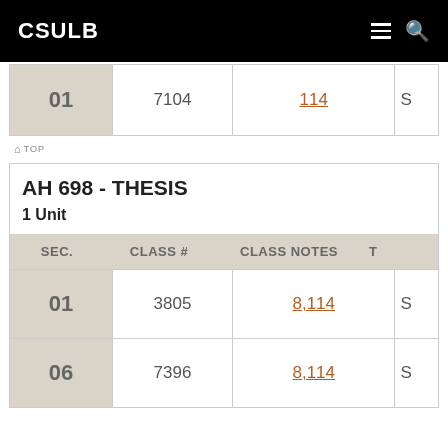CSULB
| SEC. | CLASS # | CLASS NOTES | T |
| --- | --- | --- | --- |
| 01 | 7104 | 114 | S |
TOP
AH 698 - THESIS
1 Unit
| SEC. | CLASS # | CLASS NOTES | T |
| --- | --- | --- | --- |
| 01 | 3805 | 8,114 | S |
| 06 | 7396 | 8,114 | S |